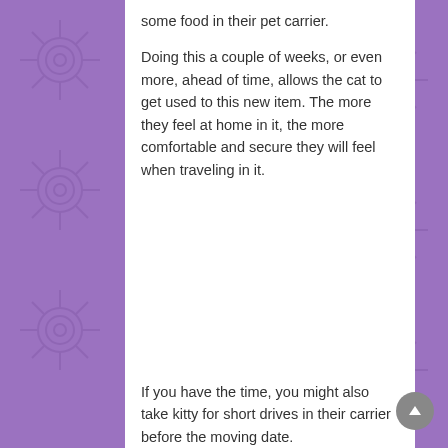some food in their pet carrier.
Doing this a couple of weeks, or even more, ahead of time, allows the cat to get used to this new item. The more they feel at home in it, the more comfortable and secure they will feel when traveling in it.
If you have the time, you might also take kitty for short drives in their carrier before the moving date.